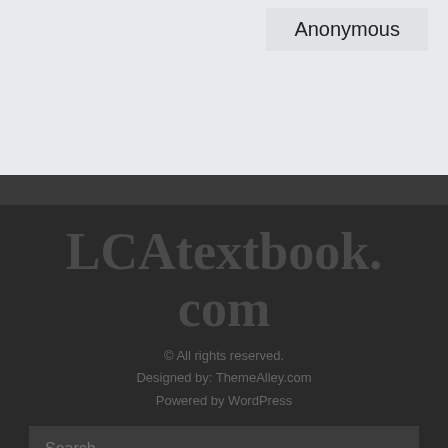Anonymous
LCAtextbook.com
© All rights reserved.
Designed by: ThemeAlley.com
Powered by WordPress
Search ...
Search